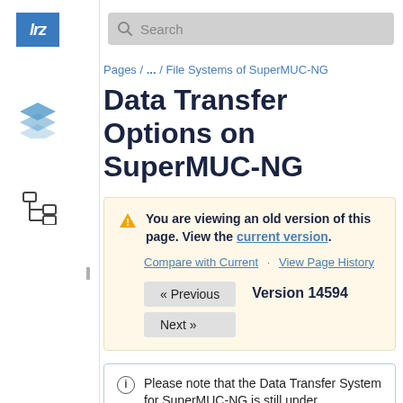lrz
Pages / ... / File Systems of SuperMUC-NG
Data Transfer Options on SuperMUC-NG
You are viewing an old version of this page. View the current version.
Compare with Current · View Page History
« Previous   Version 14594
Next »
Please note that the Data Transfer System for SuperMUC-NG is still under